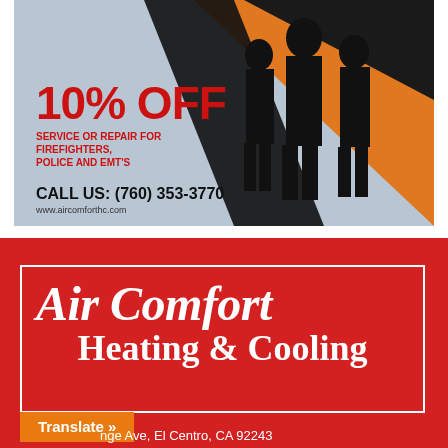[Figure (infographic): Advertisement for Air Comfort HC showing silhouettes of firefighters/first responders against orange and dark diagonal background. Text: 10% OFF SERVICE OR REPAIR FOR FIREFIGHTERS, POLICE AND EMT'S. CALL US: (760) 353-3770. www.aircomforthc.com]
Air Comfort
Heating & Cooling
Translate »
nge Ave, El Centro, CA 92243